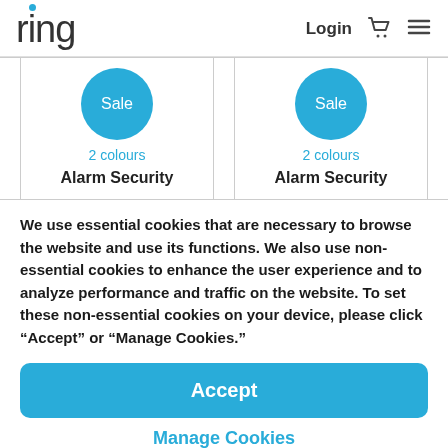[Figure (logo): Ring logo with blue dot above the letter 'i']
Login
[Figure (illustration): Shopping cart icon]
[Figure (illustration): Hamburger menu icon]
[Figure (infographic): Two product columns each showing a blue Sale badge circle, '2 colours' in blue, and 'Alarm Security' in bold]
We use essential cookies that are necessary to browse the website and use its functions. We also use non-essential cookies to enhance the user experience and to analyze performance and traffic on the website. To set these non-essential cookies on your device, please click “Accept” or “Manage Cookies.”
Accept
Manage Cookies